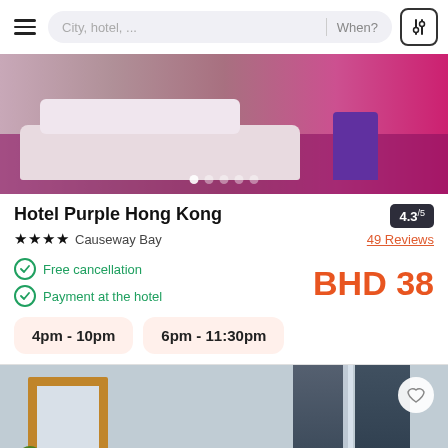City, hotel, ...  When?
[Figure (photo): Hotel room photo showing bed with pink/purple carpet and purple chair]
Hotel Purple Hong Kong
4.3/5
★★★★ Causeway Bay
49 Reviews
Free cancellation
Payment at the hotel
BHD 38
4pm - 10pm
6pm - 11:30pm
[Figure (photo): Hotel room photo showing mirror with wooden frame, plant, and curtains]